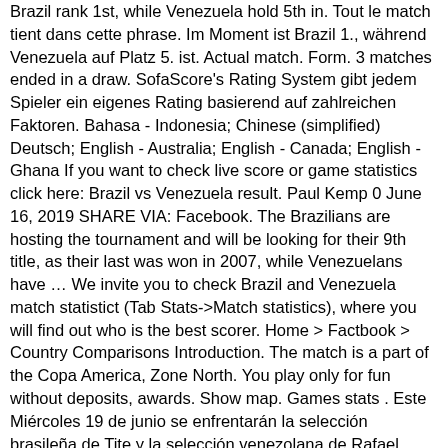Brazil rank 1st, while Venezuela hold 5th in. Tout le match tient dans cette phrase. Im Moment ist Brazil 1., während Venezuela auf Platz 5. ist. Actual match. Form. 3 matches ended in a draw. SofaScore's Rating System gibt jedem Spieler ein eigenes Rating basierend auf zahlreichen Faktoren. Bahasa - Indonesia; Chinese (simplified) Deutsch; English - Australia; English - Canada; English - Ghana If you want to check live score or game statistics click here: Brazil vs Venezuela result. Paul Kemp 0 June 16, 2019 SHARE VIA: Facebook. The Brazilians are hosting the tournament and will be looking for their 9th title, as their last was won in 2007, while Venezuelans have … We invite you to check Brazil and Venezuela match statistict (Tab Stats->Match statistics), where you will find out who is the best scorer. Home > Factbook > Country Comparisons Introduction. The match is a part of the Copa America, Zone North. You play only for fun without deposits, awards. Show map. Games stats . Este Miércoles 19 de junio se enfrentarán la selección brasileña de Tite y la selección venezolana de Rafael Dudamel.Mientras que Brasil, líder de grupo, llega con una racha de 4 victorias, Venezuela llega con una trayectoria más modesta, con tan solo 2 victorias y un empate en su último partido.. Alineaciones de Brasil vs Venezuela Playing next. Folge hier deinem Lieblingsteam live! 23 October 2020 | 17:21 WIB . Travel. Installieren sie die SofaScore app und folgen sie Brazil Venezuela live auf ihrem Smartphone! Brésil in Venezuela bei MA-Shops. Here you can easy to compare statistics for both teams. Live U-TV Quoten sind auf SofaScore Fußball Live-Spielstand zu